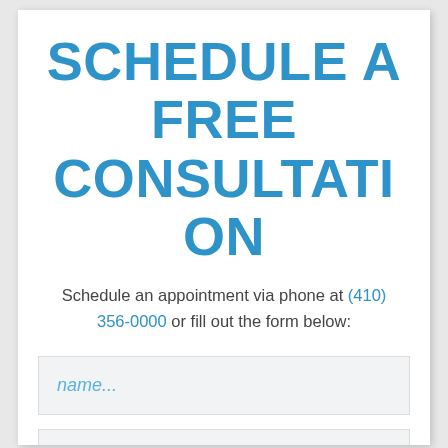SCHEDULE A FREE CONSULTATION
Schedule an appointment via phone at (410) 356-0000 or fill out the form below:
[Figure (other): Form input field with placeholder text 'name...']
[Figure (other): Form input field with placeholder text 'email...']